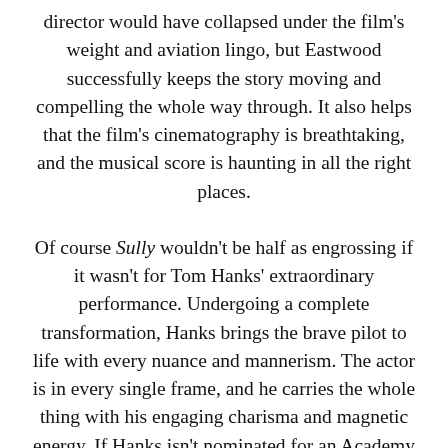director would have collapsed under the film's weight and aviation lingo, but Eastwood successfully keeps the story moving and compelling the whole way through. It also helps that the film's cinematography is breathtaking, and the musical score is haunting in all the right places.
Of course Sully wouldn't be half as engrossing if it wasn't for Tom Hanks' extraordinary performance. Undergoing a complete transformation, Hanks brings the brave pilot to life with every nuance and mannerism. The actor is in every single frame, and he carries the whole thing with his engaging charisma and magnetic energy. If Hanks isn't nominated for an Academy Award this season, it would be a grave